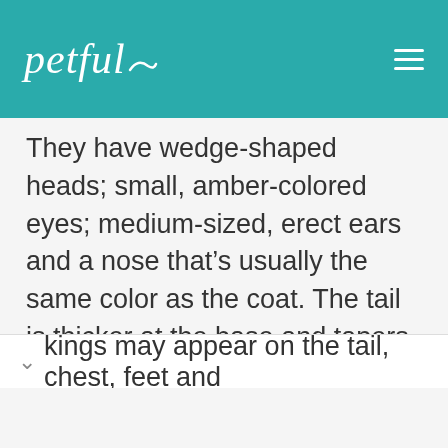petful
They have wedge-shaped heads; small, amber-colored eyes; medium-sized, erect ears and a nose that's usually the same color as the coat. The tail is thicker at the base and tapers toward the end.
ADVERTISEMENT
The short, glossy coat sheds little and comes in shades of tan, chestnut and red golden. White kings may appear on the tail, chest, feet and